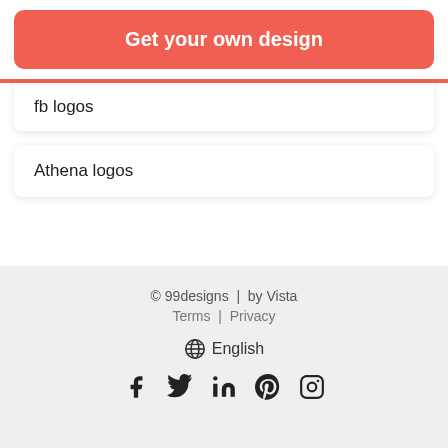[Figure (other): Red rounded button with text 'Get your own design']
fb logos
Athena logos
© 99designs | by Vista
Terms | Privacy
English
[social icons: Facebook, Twitter, LinkedIn, Pinterest, Instagram]